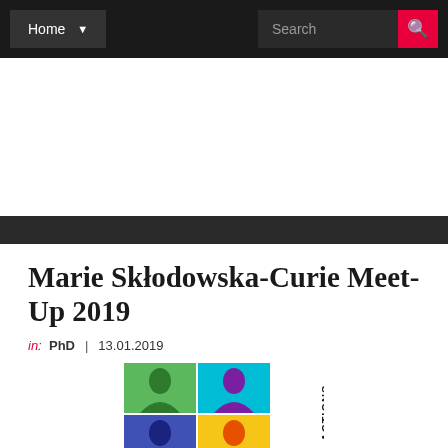Home  Search
Marie Skłodowska-Curie Meet-Up 2019
in: PhD | 13.01.2019
[Figure (logo): Marie Curie Actions logo — a 2x2 pop-art grid of Marie Curie portraits in green, blue, purple, and yellow on colored backgrounds (green, cyan, blue, yellow), with 'ACTIONS' written vertically on the right side and 'MARIE CURIE' written below.]